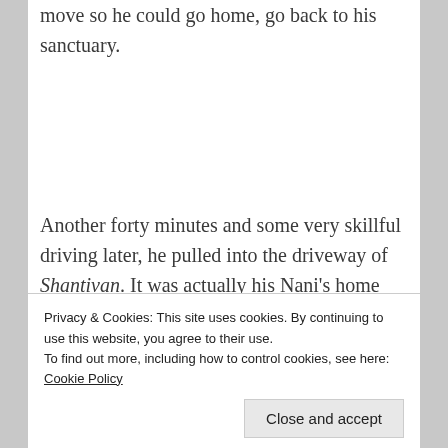move so he could go home, go back to his sanctuary.
Another forty minutes and some very skillful driving later, he pulled into the driveway of Shantivan. It was actually his Nani's home that he called his own these days. After his divorce from Maya, he needed a proper place that was a home for a baby and it made sense to move back to
Privacy & Cookies: This site uses cookies. By continuing to use this website, you agree to their use.
To find out more, including how to control cookies, see here: Cookie Policy
Close and accept